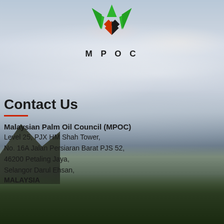[Figure (logo): MPOC (Malaysian Palm Oil Council) logo — green palm leaf chevrons with a red and black diamond/square below, and 'MPOC' text in bold spaced lettering]
Contact Us
Malaysian Palm Oil Council (MPOC)
Level 25, PJX HM Shah Tower,
No. 16A Jalan Persiaran Barat PJS 52,
46200 Petaling Jaya,
Selangor Darul Ehsan,
MALAYSIA